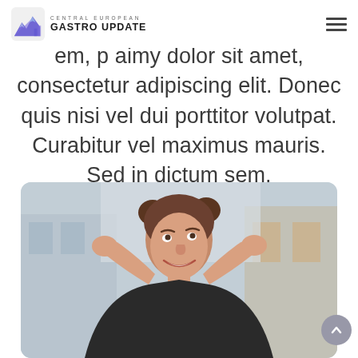[Figure (logo): Central European Gastro Update logo with mountain/graph icon and text]
em, p aimy dolor sit amet, consectetur adipiscing elit. Donec quis nisi vel dui porttitor volutpat. Curabitur vel maximus mauris. Sed in dictum sem.
[Figure (photo): Young woman with hair in buns, hands behind head, smiling, looking upward, wearing black top, blurred building background]